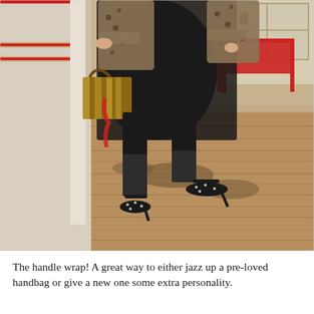[Figure (photo): A woman sitting at a red metal cafe table on a rustic wooden plank floor. She wears a black dress, leopard print jacket, and black polka-dot high heel shoes with fishnet anklets. A striped Fendi bag hangs nearby. Red metal Tolix-style chairs are visible in the background of what appears to be a cafe or boutique interior.]
The handle wrap! A great way to either jazz up a pre-loved handbag or give a new one some extra personality.